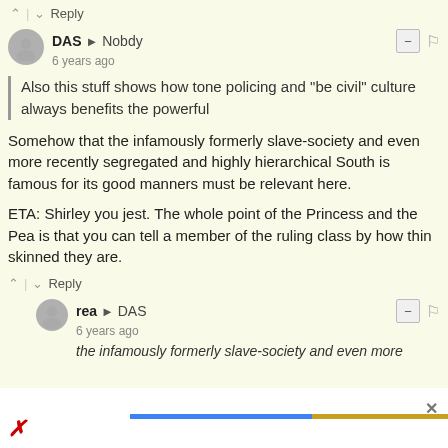^ | v Reply
DAS → Nobdy
6 years ago
Also this stuff shows how tone policing and "be civil" culture always benefits the powerful
Somehow that the infamously formerly slave-society and even more recently segregated and highly hierarchical South is famous for its good manners must be relevant here.
ETA: Shirley you jest. The whole point of the Princess and the Pea is that you can tell a member of the ruling class by how thin skinned they are.
^ | v Reply
rea → DAS
6 years ago
the infamously formerly slave-society and even more